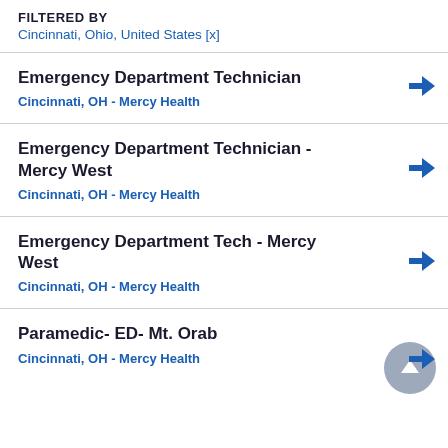FILTERED BY
Cincinnati, Ohio, United States [x]
Emergency Department Technician
Cincinnati, OH - Mercy Health
Emergency Department Technician - Mercy West
Cincinnati, OH - Mercy Health
Emergency Department Tech - Mercy West
Cincinnati, OH - Mercy Health
Paramedic- ED- Mt. Orab
Cincinnati, OH - Mercy Health